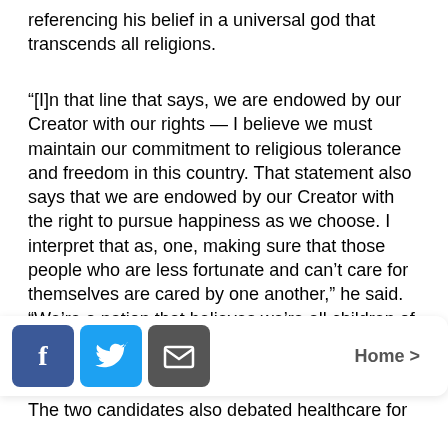referencing his belief in a universal god that transcends all religions.
“[I]n that line that says, we are endowed by our Creator with our rights — I believe we must maintain our commitment to religious tolerance and freedom in this country. That statement also says that we are endowed by our Creator with the right to pursue happiness as we choose. I interpret that as, one, making sure that those people who are less fortunate and can’t care for themselves are cared by one another,” he said. “We’re a nation that believes we’re all children of the same God.”
Barack Obama did not invoke the name of God or
[Figure (other): Social sharing bar with Facebook, Twitter, and email icons, and a Home > navigation link]
The two candidates also debated healthcare for